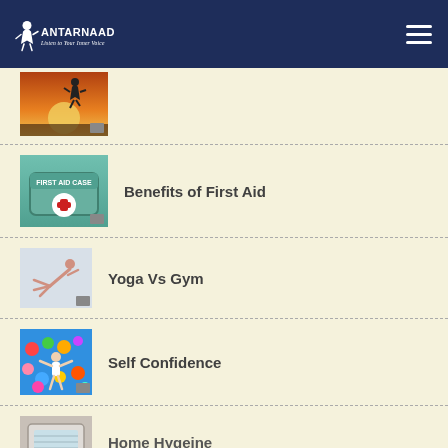ANTARNAAD - Listen to Your Inner Voice
[Figure (photo): Thumbnail image of person jumping at sunset]
[partially visible title]
[Figure (photo): First Aid Case box with red cross]
Benefits of First Aid
[Figure (photo): Person doing yoga pose]
Yoga Vs Gym
[Figure (photo): Person with arms spread among colorful balloons]
Self Confidence
[Figure (photo): Home hygiene related image]
Home Hygeine